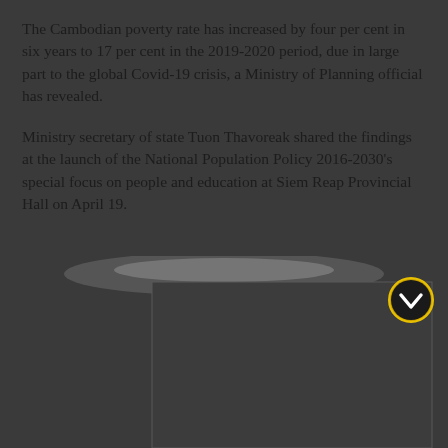The Cambodian poverty rate has increased by four per cent in six years to 17 per cent in the 2019-2020 period, due in large part to the global Covid-19 crisis, a Ministry of Planning official has revealed.
Ministry secretary of state Tuon Thavoreak shared the findings at the launch of the National Population Policy 2016-2030's special focus on people and education at Siem Reap Provincial Hall on April 19.
[Figure (photo): Partially visible photo or video frame at bottom of page with a dark background and a circular yellow/gold chevron-down button icon in the upper right area of the image region]